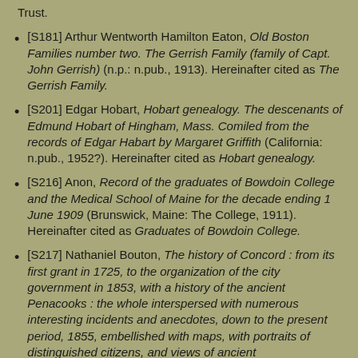[S181] Arthur Wentworth Hamilton Eaton, Old Boston Families number two. The Gerrish Family (family of Capt. John Gerrish) (n.p.: n.pub., 1913). Hereinafter cited as The Gerrish Family.
[S201] Edgar Hobart, Hobart genealogy. The descenants of Edmund Hobart of Hingham, Mass. Comiled from the records of Edgar Habart by Margaret Griffith (California: n.pub., 1952?). Hereinafter cited as Hobart genealogy.
[S216] Anon, Record of the graduates of Bowdoin College and the Medical School of Maine for the decade ending 1 June 1909 (Brunswick, Maine: The College, 1911). Hereinafter cited as Graduates of Bowdoin College.
[S217] Nathaniel Bouton, The history of Concord : from its first grant in 1725, to the organization of the city government in 1853, with a history of the ancient Penacooks : the whole interspersed with numerous interesting incidents and anecdotes, down to the present period, 1855, embellished with maps, with portraits of distinguished citizens, and views of ancient